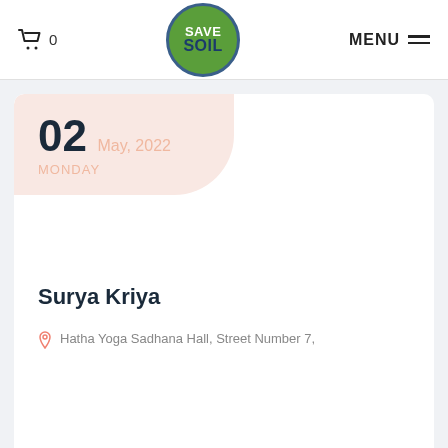Save Soil — Cart 0 | MENU
[Figure (logo): Save Soil circular logo with green background and blue border, text SAVE SOIL]
02 May, 2022
MONDAY
Surya Kriya
Hatha Yoga Sadhana Hall, Street Number 7,